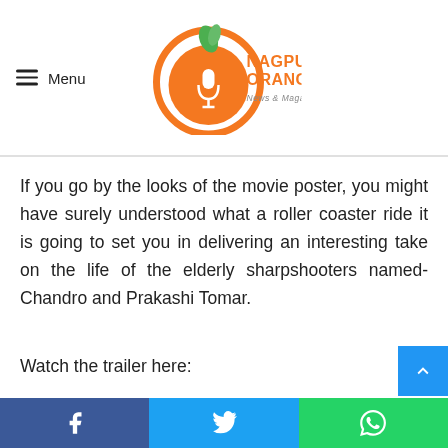Menu | Nagpur Oranges News & Magazine
If you go by the looks of the movie poster, you might have surely understood what a roller coaster ride it is going to set you in delivering an interesting take on the life of the elderly sharpshooters named- Chandro and Prakashi Tomar.
Watch the trailer here:
Facebook | Twitter | WhatsApp